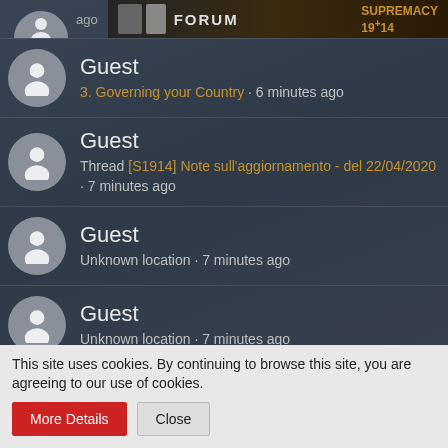ago
[Figure (screenshot): Forum banner with game imagery showing 'FORUM' text and 'SUPREMACY 19+14' badge]
Guest
3. Governing your Country · 6 minutes ago
Guest
Thread [S1914] Note sull'aggiornamento - del 22/04/2020 · 7 minutes ago
Guest
Unknown location · 7 minutes ago
Guest
Unknown location · 7 minutes ago
Guest
This site uses cookies. By continuing to browse this site, you are agreeing to our use of cookies.